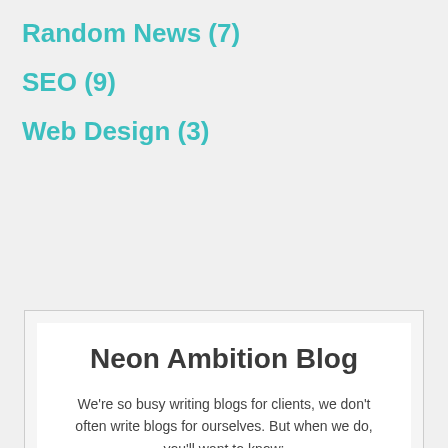Random News (7)
SEO (9)
Web Design (3)
Neon Ambition Blog
We're so busy writing blogs for clients, we don't often write blogs for ourselves. But when we do, you'll want to know:
SUBSCRIBE FOR BLOG UPDATES
EMAIL*